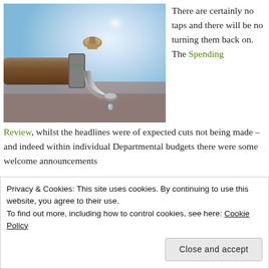[Figure (photo): Close-up photo of a metal water tap/faucet with a drop of water falling, against a blue sky background]
There are certainly no taps and there will be no turning them back on. The Spending Review, whilst the headlines were of expected cuts not being made – and indeed within individual Departmental budgets there were some welcome announcements
Privacy & Cookies: This site uses cookies. By continuing to use this website, you agree to their use.
To find out more, including how to control cookies, see here: Cookie Policy
Close and accept